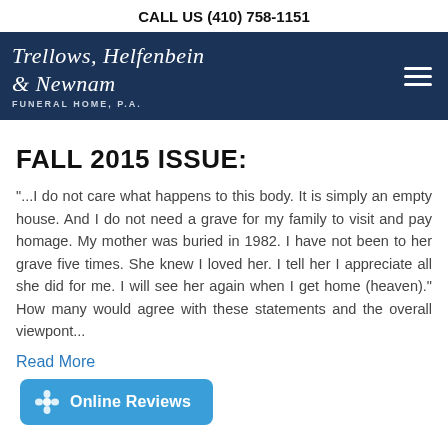CALL US (410) 758-1151
[Figure (logo): Trellows, Helfenbein & Newnam Funeral Home, P.A. logo in white italic script on dark navy background, with hamburger menu icon on right]
FALL 2015 ISSUE:
"...I do not care what happens to this body. It is simply an empty house. And I do not need a grave for my family to visit and pay homage. My mother was buried in 1982. I have not been to her grave five times. She knew I loved her. I tell her I appreciate all she did for me. I will see her again when I get home (heaven)." How many would agree with these statements and the overall viewpont...
Read More
[Figure (screenshot): Blue rounded button with flower icon and text 'Online Reviews']